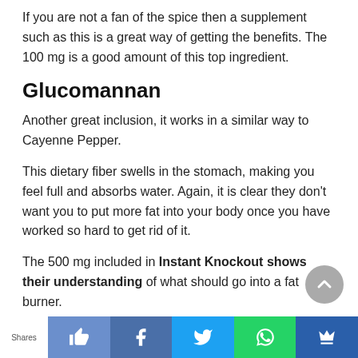If you are not a fan of the spice then a supplement such as this is a great way of getting the benefits. The 100 mg is a good amount of this top ingredient.
Glucomannan
Another great inclusion, it works in a similar way to Cayenne Pepper.
This dietary fiber swells in the stomach, making you feel full and absorbs water. Again, it is clear they don't want you to put more fat into your body once you have worked so hard to get rid of it.
The 500 mg included in Instant Knockout shows their understanding of what should go into a fat burner.
Vitamin B6